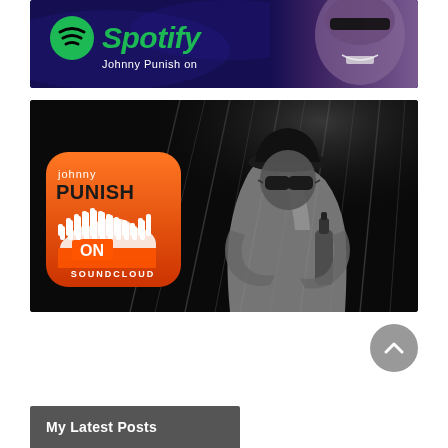[Figure (illustration): Spotify banner ad for Johnny Punish showing the Spotify logo in green on a dark purple/blue background with a stylized face/portrait on the right side]
[Figure (illustration): SoundCloud banner ad for Johnny Punish showing the SoundCloud logo on an orange rounded-square icon overlay, with a black-and-white photo of a man in hat and sunglasses holding a bottle, against a dark background with building/diagonal lines]
My Latest Posts